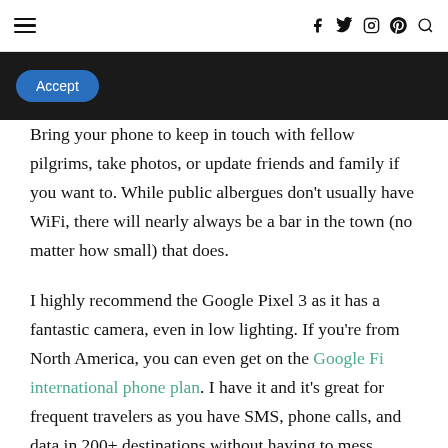≡  f  𝕏  ◯  𝕡  🔍
Accept
Bring your phone to keep in touch with fellow pilgrims, take photos, or update friends and family if you want to. While public albergues don't usually have WiFi, there will nearly always be a bar in the town (no matter how small) that does.
I highly recommend the Google Pixel 3 as it has a fantastic camera, even in low lighting. If you're from North America, you can even get on the Google Fi international phone plan. I have it and it's great for frequent travelers as you have SMS, phone calls, and data in 200+ destinations without having to mess around with a new SIM each time.